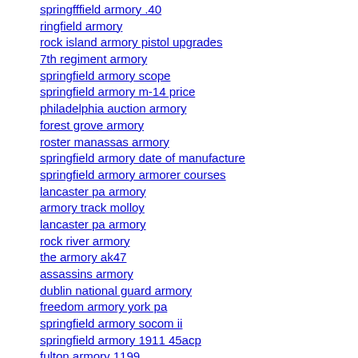springfffield armory .40
ringfield armory
rock island armory pistol upgrades
7th regiment armory
springfield armory scope
springfield armory m-14 price
philadelphia auction armory
forest grove armory
roster manassas armory
springfield armory date of manufacture
springfield armory armorer courses
lancaster pa armory
armory track molloy
lancaster pa armory
rock river armory
the armory ak47
assassins armory
dublin national guard armory
freedom armory york pa
springfield armory socom ii
springfield armory 1911 45acp
fulton armory 1199
springfield armory official site
springfield armory blogs
european american armory ea 380